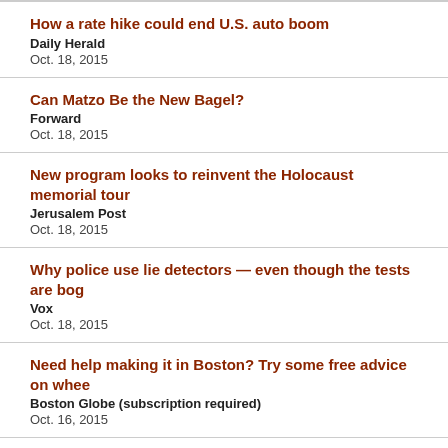How a rate hike could end U.S. auto boom
Daily Herald
Oct. 18, 2015
Can Matzo Be the New Bagel?
Forward
Oct. 18, 2015
New program looks to reinvent the Holocaust memorial tour
Jerusalem Post
Oct. 18, 2015
Why police use lie detectors — even though the tests are bog
Vox
Oct. 18, 2015
Need help making it in Boston? Try some free advice on whee
Boston Globe (subscription required)
Oct. 16, 2015
Russian cooperation with Iran and Iraq has broader conseque
The Conversation
Oct. 16, 2015